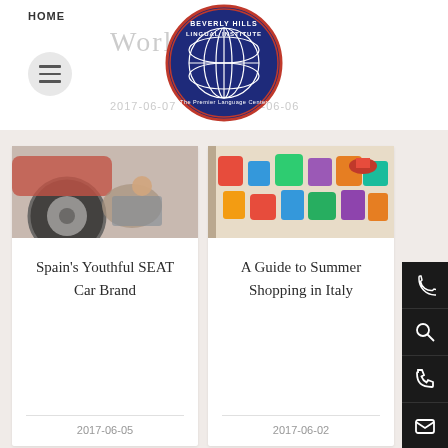HOME
[Figure (logo): Beverly Hills Lingual Institute circular logo with globe and text 'The Premier Language Center']
[Figure (photo): Person crouching next to a red car wheel]
Spain's Youthful SEAT Car Brand
2017-06-05
[Figure (photo): Colorful bags and items hanging at a market stall]
A Guide to Summer Shopping in Italy
2017-06-02